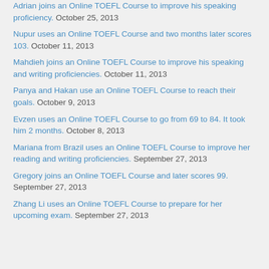Adrian joins an Online TOEFL Course to improve his speaking proficiency. October 25, 2013
Nupur uses an Online TOEFL Course and two months later scores 103. October 11, 2013
Mahdieh joins an Online TOEFL Course to improve his speaking and writing proficiencies. October 11, 2013
Panya and Hakan use an Online TOEFL Course to reach their goals. October 9, 2013
Evzen uses an Online TOEFL Course to go from 69 to 84. It took him 2 months. October 8, 2013
Mariana from Brazil uses an Online TOEFL Course to improve her reading and writing proficiencies. September 27, 2013
Gregory joins an Online TOEFL Course and later scores 99. September 27, 2013
Zhang Li uses an Online TOEFL Course to prepare for her upcoming exam. September 27, 2013